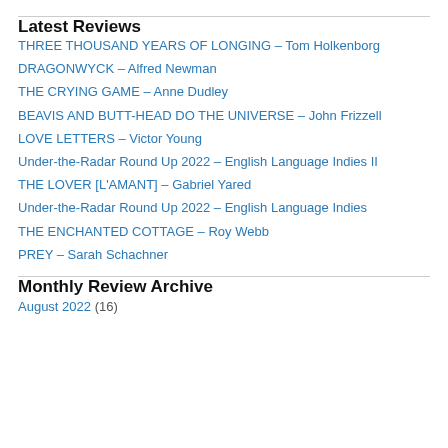Latest Reviews
THREE THOUSAND YEARS OF LONGING – Tom Holkenborg
DRAGONWYCK – Alfred Newman
THE CRYING GAME – Anne Dudley
BEAVIS AND BUTT-HEAD DO THE UNIVERSE – John Frizzell
LOVE LETTERS – Victor Young
Under-the-Radar Round Up 2022 – English Language Indies II
THE LOVER [L'AMANT] – Gabriel Yared
Under-the-Radar Round Up 2022 – English Language Indies
THE ENCHANTED COTTAGE – Roy Webb
PREY – Sarah Schachner
Monthly Review Archive
August 2022 (16)